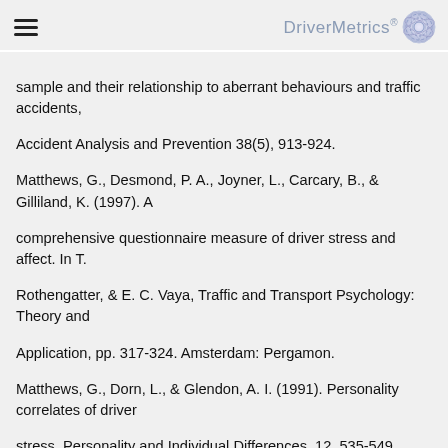DriverMetrics®
sample and their relationship to aberrant behaviours and traffic accidents, Accident Analysis and Prevention 38(5), 913-924. Matthews, G., Desmond, P. A., Joyner, L., Carcary, B., & Gilliland, K. (1997). A comprehensive questionnaire measure of driver stress and affect. In T. Rothengatter, & E. C. Vaya, Traffic and Transport Psychology: Theory and Application, pp. 317-324. Amsterdam: Pergamon. Matthews, G., Dorn, L., & Glendon, A. I. (1991). Personality correlates of driver stress. Personality and Individual Differences, 12, 535-549. Matthews, G., Tsuda, A., Xin, G., & Ozeki, Y. (1999a). Individual differences in driver stress vulnerability in a Japanese sample. Ergonomics, 42, 401-415.